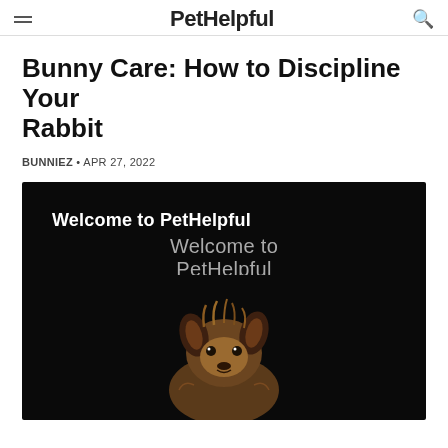PetHelpful
Bunny Care: How to Discipline Your Rabbit
BUNNIEZ • APR 27, 2022
[Figure (screenshot): Video player thumbnail showing a small Yorkshire Terrier dog on black background with 'Welcome to PetHelpful' overlay text and a play button in the center]